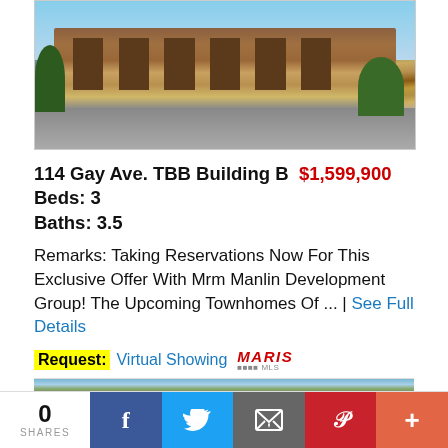[Figure (photo): Exterior rendering of brick townhomes with white staircases, trees, and people on a street]
114 Gay Ave. TBB Building B  $1,599,900  Beds: 3  Baths: 3.5
Remarks: Taking Reservations Now For This Exclusive Offer With Mrm Manlin Development Group! The Upcoming Townhomes Of ... | See Full Details
Request: Virtual Showing  MARIS MLS
[Figure (photo): Partial exterior photo of a residential property]
0 SHARES  [Facebook] [Twitter] [Email] [Pinterest] [More]